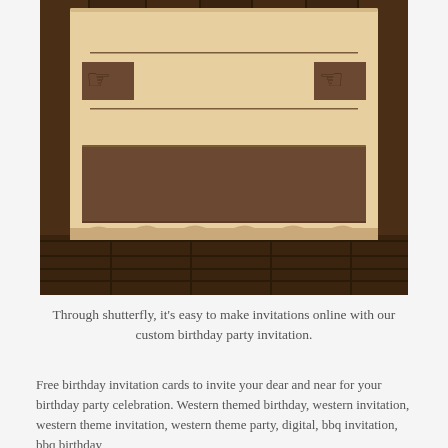[Figure (illustration): Western-themed birthday party invitation card. A parchment/paper card is pinned against a dark wooden plank background. The card has a beige/tan color with brown line borders and pointing hand/finger icons on left and right sides. Below the lines is a wide brown rectangular banner/label area. The bottom shows dark wooden fence planks.]
Through shutterfly, it's easy to make invitations online with our custom birthday party invitation.
Free birthday invitation cards to invite your dear and near for your birthday party celebration. Western themed birthday, western invitation, western theme invitation, western theme party, digital, bbq invitation, bbq birthday